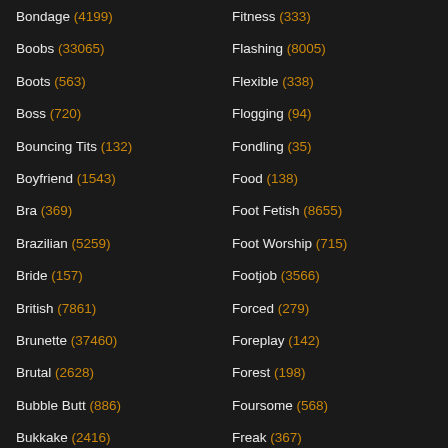Bondage (4199)
Boobs (33065)
Boots (563)
Boss (720)
Bouncing Tits (132)
Boyfriend (1543)
Bra (369)
Brazilian (5259)
Bride (157)
British (7861)
Brunette (37460)
Brutal (2628)
Bubble Butt (886)
Bukkake (2416)
Bus (710)
Busty (10443)
Fitness (333)
Flashing (8005)
Flexible (338)
Flogging (94)
Fondling (35)
Food (138)
Foot Fetish (8655)
Foot Worship (715)
Footjob (3566)
Forced (279)
Foreplay (142)
Forest (198)
Foursome (568)
Freak (367)
Freckled (87)
French (8978)